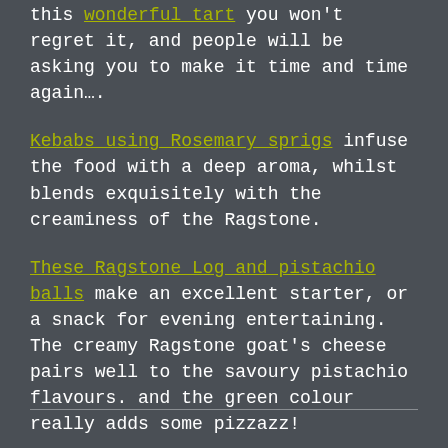this wonderful tart you won't regret it, and people will be asking you to make it time and time again….
Kebabs using Rosemary sprigs infuse the food with a deep aroma, whilst blends exquisitely with the creaminess of the Ragstone.
These Ragstone Log and pistachio balls make an excellent starter, or a snack for evening entertaining. The creamy Ragstone goat's cheese pairs well to the savoury pistachio flavours. and the green colour really adds some pizzazz!